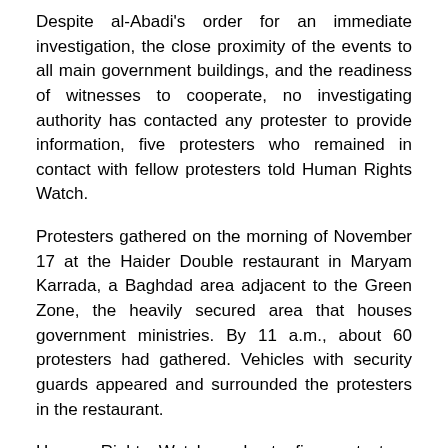Despite al-Abadi's order for an immediate investigation, the close proximity of the events to all main government buildings, and the readiness of witnesses to cooperate, no investigating authority has contacted any protester to provide information, five protesters who remained in contact with fellow protesters told Human Rights Watch.
Protesters gathered on the morning of November 17 at the Haider Double restaurant in Maryam Karrada, a Baghdad area adjacent to the Green Zone, the heavily secured area that houses government ministries. By 11 a.m., about 60 protesters had gathered. Vehicles with security guards appeared and surrounded the protesters in the restaurant.
Human Rights Watch spoke to five protesters, who said there were several dozen security forces, about half in civilian clothes, most masked and armed with pistols. One vehicle had a large machine gun mounted in the back. The uniformed men wore black uniforms with